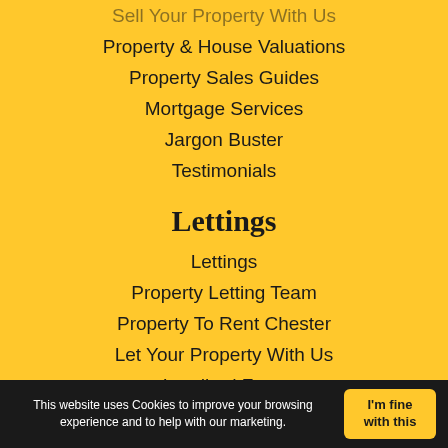Property & House Valuations
Property Sales Guides
Mortgage Services
Jargon Buster
Testimonials
Lettings
Lettings
Property Letting Team
Property To Rent Chester
Let Your Property With Us
Landlord Zone
Tenant Zone
Jargon Buster
This website uses Cookies to improve your browsing experience and to help with our marketing.